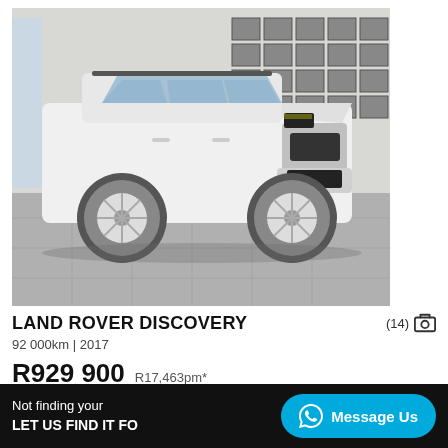[Figure (photo): White Land Rover Discovery SUV photographed inside a dealership showroom with tiled floor and framed pictures on the wall in the background.]
LAND ROVER DISCOVERY
(14) camera icon
92 000km | 2017
R929 900   R17,463pm*
Not finding your ... LET US FIND IT FO...
Message Us